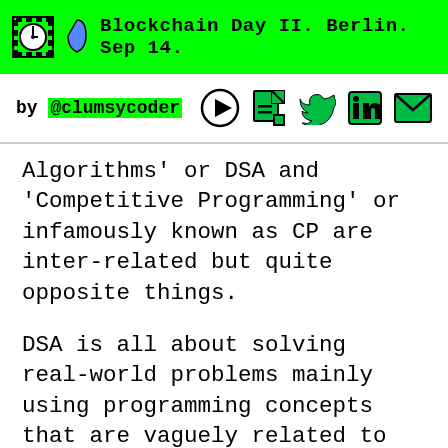Blockchain Day II. Berlin. Sep 14.
by @clumsycoder
Algorithms' or DSA and 'Competitive Programming' or infamously known as CP are inter-related but quite opposite things.
DSA is all about solving real-world problems mainly using programming concepts that are vaguely related to computer science. You are supposed to find the solution that is most suitable for real-world scenarios. Later you need to implement it using code.
The best word I have come across to describe CP is 'mind sport'. You compete with other coders to solve a